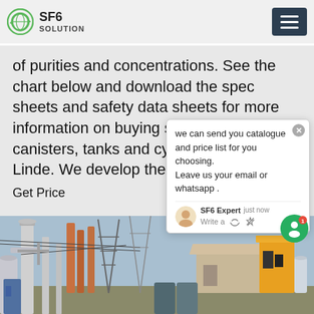SF6 SOLUTION
of purities and concentrations. See the chart below and download the spec sheets and safety data sheets for more information on buying sulfur hexafluoride canisters, tanks and cy... Linde. We develop the right grades...
Get Price
[Figure (screenshot): Chat popup overlay: 'we can send you catalogue and price list for you choosing. Leave us your email or whatsapp.' with SF6 Expert avatar, 'just now' timestamp, thumbs up and paperclip icons, and close button.]
[Figure (photo): Industrial electrical substation with high-voltage equipment, pipes, insulators, towers, and a yellow crane/lifting device on the right side.]